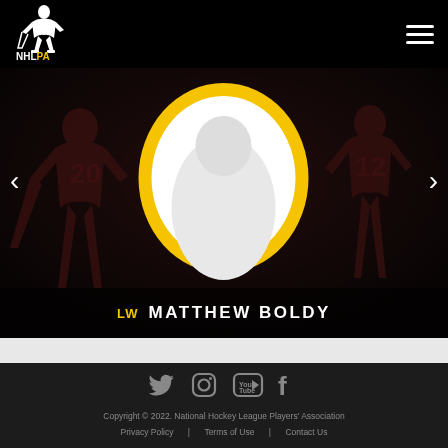NHLPA
[Figure (illustration): NHLPA player profile page showing Matthew Boldy (LW) with a gold circular frame placeholder for player photo, set against a dark background with hockey players in dark red uniforms. Navigation arrows on left and right sides.]
LW MATTHEW BOLDY
[Figure (infographic): Social media icons row: Twitter bird, Instagram camera, YouTube play button, Facebook f]
Copyright © 2022. National Hockey League Players' Association
Privacy Policy  |  Terms of Use  |  Contact Us